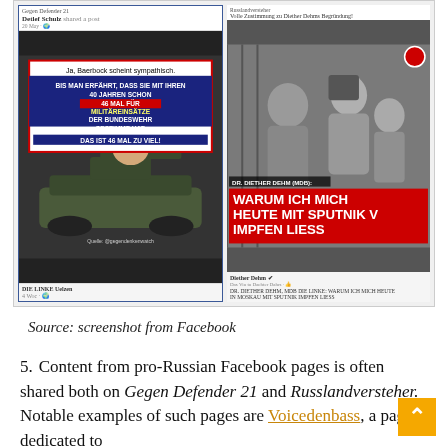[Figure (screenshot): Two Facebook post screenshots side by side. Left: post by 'DIE LINKE Uelzen' sharing image claiming Baerbock voted 46 times for Bundeswehr military operations, with tank graphic. Right: post by 'Diether Dehm' about getting vaccinated with Sputnik V in Moscow, with red overlay text 'WARUM ICH MICH HEUTE MIT SPUTNIK V IMPFEN LIESS'.]
Source: screenshot from Facebook
5. Content from pro-Russian Facebook pages is often shared both on Gegen Defender 21 and Russlandversteher. Notable examples of such pages are Voicedenbass, a page dedicated to